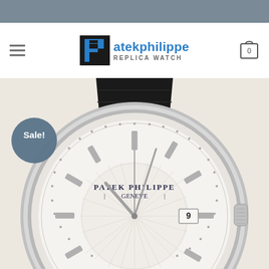[Figure (logo): Patek Philippe Replica Watch website logo with 'P' icon in blue/black and text 'atekphilippe REPLICA WATCH']
[Figure (photo): Close-up product photo of a Patek Philippe Geneve replica watch with white/silver dial, black leather strap, stainless steel case, date window showing '9', with a 'Sale!' badge overlay in dark blue-grey circle.]